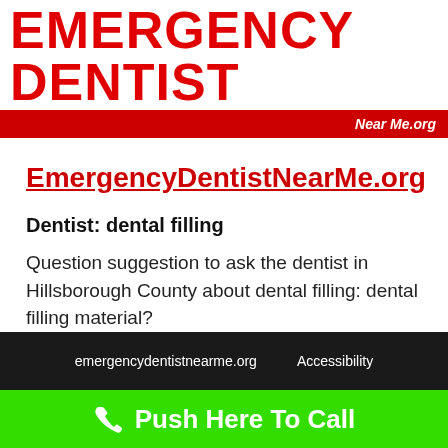EMERGENCY DENTIST
Near Me.org
EmergencyDentistNearMe.org
Dentist: dental filling
Question suggestion to ask the dentist in Hillsborough County about dental filling: dental filling material?
emergencydentistnearme.org   Accessibility
Push Here To Call